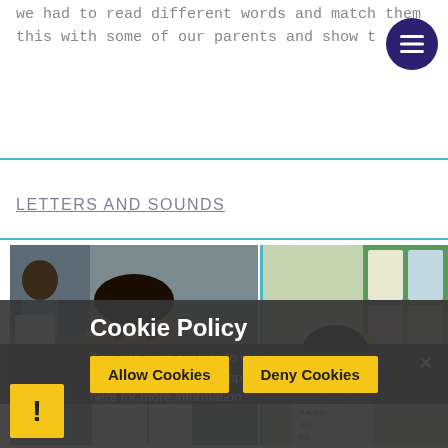we had to read different words and match them this with some of our parents and show th
LETTERS AND SOUNDS
[Figure (photo): A young boy in a blue school uniform sitting at a desk, holding up a whiteboard with writing on it, in a classroom setting.]
[Figure (photo): A young girl in a blue school uniform smiling and holding up a whiteboard with writing on it, standing in a classroom with colorful displays on the wall.]
Cookie Policy
This site uses cookies to store information on your computer. Click here for more information
Allow Cookies
Deny Cookies